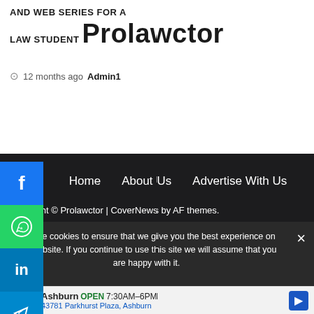AND WEB SERIES FOR A LAW STUDENT Prolawctor
12 months ago Admin1
Home  About Us  Advertise With Us  Privacy Policy  Terms and Conditions  Contact Us
Copyright © Prolawctor | CoverNews by AF themes.
We use cookies to ensure that we give you the best experience on our website. If you continue to use this site we will assume that you are happy with it.
Ashburn OPEN 7:30AM–6PM 43781 Parkhurst Plaza, Ashburn